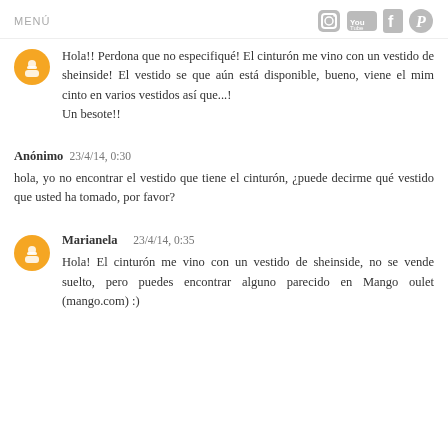MENÚ
Hola!! Perdona que no especifiqué! El cinturón me vino con un vestido de sheinside! El vestido se que aún está disponible, bueno, viene el mim cinto en varios vestidos así que...!
Un besote!!
Anónimo  23/4/14, 0:30
hola, yo no encontrar el vestido que tiene el cinturón, ¿puede decirme qué vestido que usted ha tomado, por favor?
Marianela  23/4/14, 0:35
Hola! El cinturón me vino con un vestido de sheinside, no se vende suelto, pero puedes encontrar alguno parecido en Mango oulet (mango.com) :)